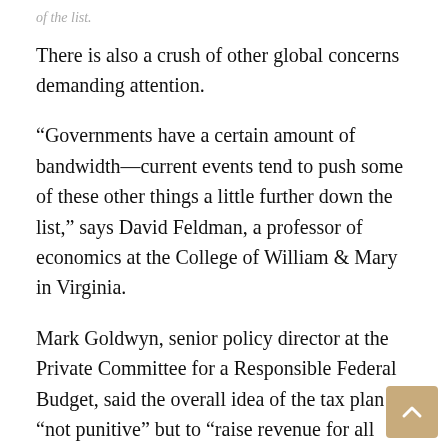There is also a crush of other global concerns demanding attention.
“Governments have a certain amount of bandwidth—current events tend to push some of these other things a little further down the list,” says David Feldman, a professor of economics at the College of William & Mary in Virginia.
Mark Goldwyn, senior policy director at the Private Committee for a Responsible Federal Budget, said the overall idea of the tax plan is “not punitive” but to “raise revenue for all countries”.
“It also hopefully prevents countries from cutting their taxes relative to other countries,” he said.